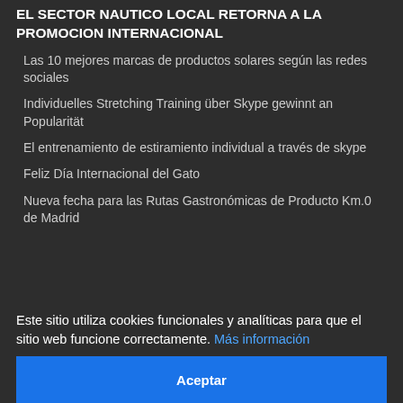EL SECTOR NAUTICO LOCAL RETORNA A LA PROMOCION INTERNACIONAL
Las 10 mejores marcas de productos solares según las redes sociales
Individuelles Stretching Training über Skype gewinnt an Popularität
El entrenamiento de estiramiento individual a través de skype
Feliz Día Internacional del Gato
Nueva fecha para las Rutas Gastronómicas de Producto Km.0 de Madrid
Este sitio utiliza cookies funcionales y analíticas para que el sitio web funcione correctamente. Más información
Aceptar